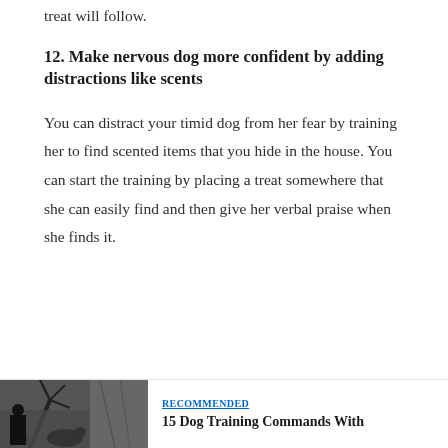treat will follow.
12. Make nervous dog more confident by adding distractions like scents
You can distract your timid dog from her fear by training her to find scented items that you hide in the house. You can start the training by placing a treat somewhere that she can easily find and then give her verbal praise when she finds it.
[Figure (photo): Photo of a dog outdoors near branches/trees, partially visible at bottom left of page]
RECOMMENDED
15 Dog Training Commands With